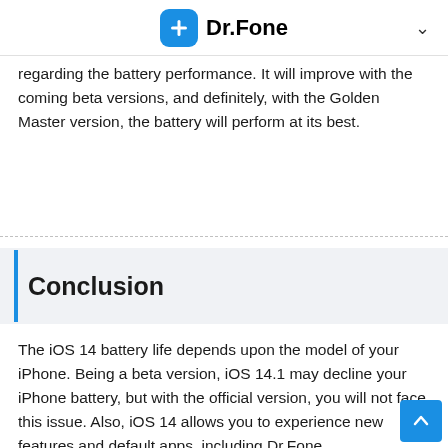Dr.Fone
regarding the battery performance. It will improve with the coming beta versions, and definitely, with the Golden Master version, the battery will perform at its best.
Conclusion
The iOS 14 battery life depends upon the model of your iPhone. Being a beta version, iOS 14.1 may decline your iPhone battery, but with the official version, you will not face this issue. Also, iOS 14 allows you to experience new features and default apps, including Dr.Fone.